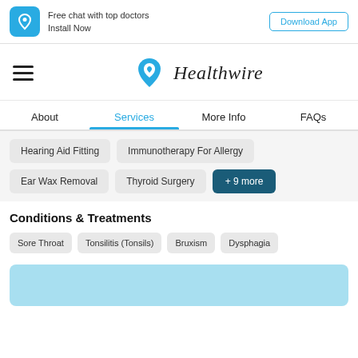Free chat with top doctors Install Now | Download App
[Figure (logo): Healthwire logo with teal heart/leaf icon and italic text 'Healthwire']
About | Services | More Info | FAQs
Hearing Aid Fitting
Immunotherapy For Allergy
Ear Wax Removal
Thyroid Surgery
+ 9 more
Conditions & Treatments
Sore Throat
Tonsilitis (Tonsils)
Bruxism
Dysphagia